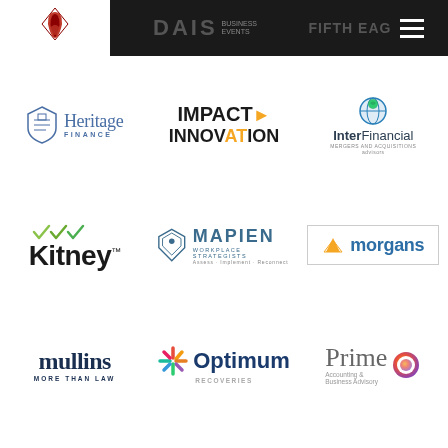[Figure (logo): Page header with logos: company logo (red diamond/flame), DAIS logo, FIFTH EAGLE logo, and hamburger menu icon on dark background]
[Figure (logo): Heritage Finance logo - shield icon with text Heritage Finance]
[Figure (logo): Impact Innovation logo - bold text with orange arrow and colored AT in INNOVATION]
[Figure (logo): InterFinancial logo - blue globe icon with text InterFinancial mergers and acquisitions advisors]
[Figure (logo): Kitney logo - green checkmarks above bold Kitney text with TM mark]
[Figure (logo): Mapien Workplace Strategists logo - diamond/location pin outline with text MAPIEN]
[Figure (logo): Morgans logo - orange M icon with text morgans in blue/teal, in a bordered box]
[Figure (logo): mullins more than law logo - bold dark blue text]
[Figure (logo): Optimum Recoveries logo - colorful pinwheel/asterisk icon with text Optimum]
[Figure (logo): Prime Accounting & Business Advisory logo - orange circular gradient icon with text Prime]